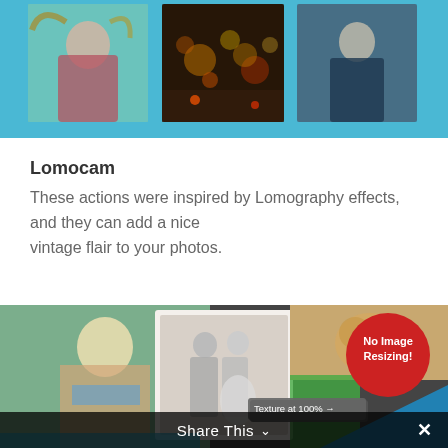[Figure (photo): Top strip showing three photos with blue background: a smiling girl with flowing hair in red top, a night city street scene with colorful bokeh lights, and a young man in dark jacket]
Lomocam
These actions were inspired by Lomography effects, and they can add a nice vintage flair to your photos.
[Figure (photo): Collage of photos: blonde woman in bikini, vintage black-and-white wedding photo, fluffy dog, colorful polaroid-style photos, red circle badge saying 'No Image Resizing!', tooltip saying 'Texture at 100%', blue diagonal stripe]
Share This ∨  ×